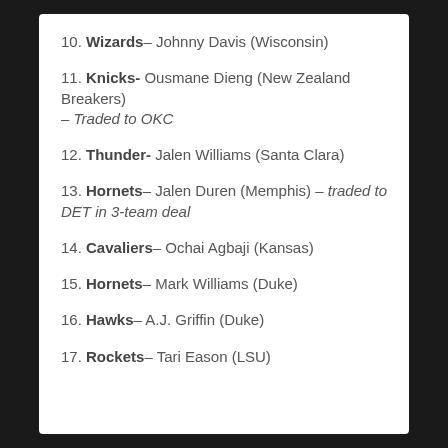10. Wizards– Johnny Davis (Wisconsin)
11. Knicks- Ousmane Dieng (New Zealand Breakers) — Traded to OKC
12. Thunder- Jalen Williams (Santa Clara)
13. Hornets– Jalen Duren (Memphis) — traded to DET in 3-team deal
14. Cavaliers– Ochai Agbaji (Kansas)
15. Hornets– Mark Williams (Duke)
16. Hawks– A.J. Griffin (Duke)
17. Rockets– Tari Eason (LSU)